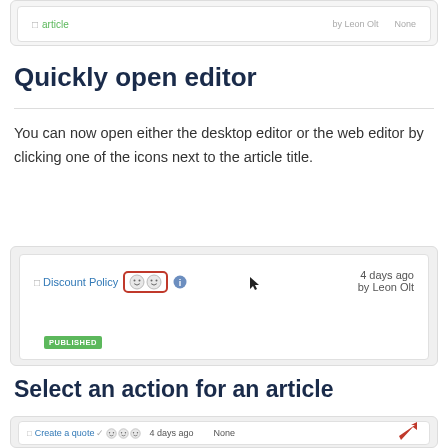[Figure (screenshot): Top partial screenshot showing a green PUBLISHED badge row from a document list]
Quickly open editor
You can now open either the desktop editor or the web editor by clicking one of the icons next to the article title.
[Figure (screenshot): Screenshot of a document list row showing 'Discount Policy' article link with two smiley face editor icons highlighted in a red border box, date '4 days ago', 'by Leon Olt', and a PUBLISHED badge]
Select an action for an article
[Figure (screenshot): Partial screenshot showing document list row with 'Create a quote' article, smiley icons, date '4 days ago', 'None', red arrow pointing right, PUBLISHED badge, and person icon]